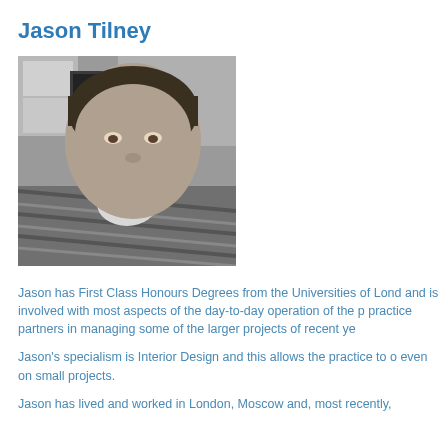Jason Tilney
[Figure (photo): Black and white portrait photo of Jason Tilney, a person with short dark hair wearing a striped top, resting chin on hand]
Jason has First Class Honours Degrees from the Universities of London and is involved with most aspects of the day-to-day operation of the practice partners in managing some of the larger projects of recent years.
Jason's specialism is Interior Design and this allows the practice to offer even on small projects.
Jason has lived and worked in London, Moscow and, most recently,